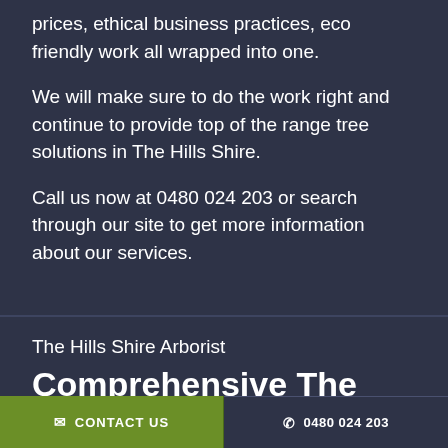prices, ethical business practices, eco friendly work all wrapped into one.
We will make sure to do the work right and continue to provide top of the range tree solutions in The Hills Shire.
Call us now at 0480 024 203 or search through our site to get more information about our services.
The Hills Shire Arborist
Comprehensive The Hills Shire Tree Cutting Specialists
✉ CONTACT US   ✆ 0480 024 203